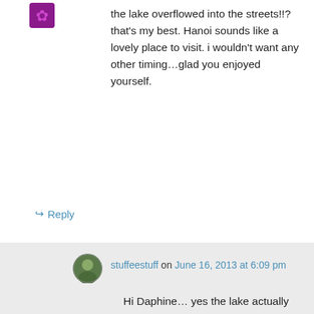[Figure (photo): Small avatar icon, purple/maroon colored icon at top left]
the lake overflowed into the streets!!? that's my best. Hanoi sounds like a lovely place to visit. i wouldn't want any other timing…glad you enjoyed yourself.
↪ Reply
stuffeestuff on June 16, 2013 at 6:09 pm
[Figure (photo): Small circular avatar photo with nature/person image]
Hi Daphine… yes the lake actually overflowed into the streets! There was no shortage of things to see and do in Hanoi and I hope that you get a chance to go someday soon..
↪ Reply